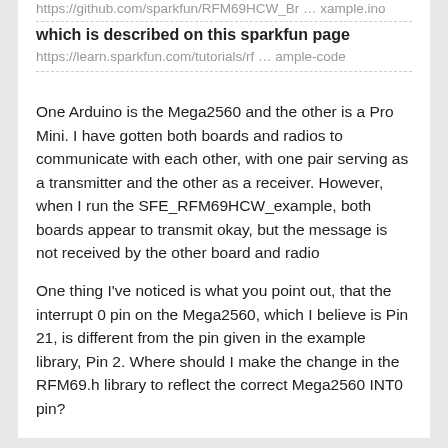https://github.com/sparkfun/RFM69HCW_Br … xample.ino
which is described on this sparkfun page
https://learn.sparkfun.com/tutorials/rf … ample-code
One Arduino is the Mega2560 and the other is a Pro Mini. I have gotten both boards and radios to communicate with each other, with one pair serving as a transmitter and the other as a receiver. However, when I run the SFE_RFM69HCW_example, both boards appear to transmit okay, but the message is not received by the other board and radio
One thing I've noticed is what you point out, that the interrupt 0 pin on the Mega2560, which I believe is Pin 21, is different from the pin given in the example library, Pin 2. Where should I make the change in the RFM69.h library to reflect the correct Mega2560 INT0 pin?
[Figure (illustration): User avatar placeholder image]
RE: ARDUINO 101 (INTEL CURIE) AND RFM69H...